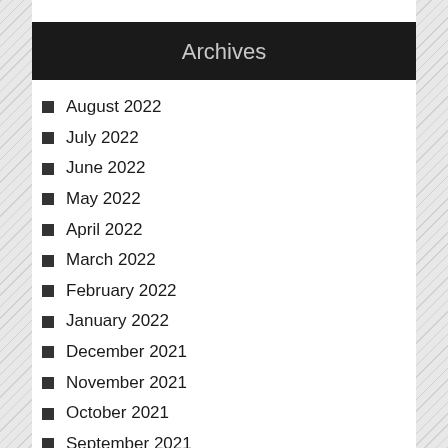Archives
August 2022
July 2022
June 2022
May 2022
April 2022
March 2022
February 2022
January 2022
December 2021
November 2021
October 2021
September 2021
August 2021
July 2021
June 2021
May 2021
April 2021
March 2021
February 2021